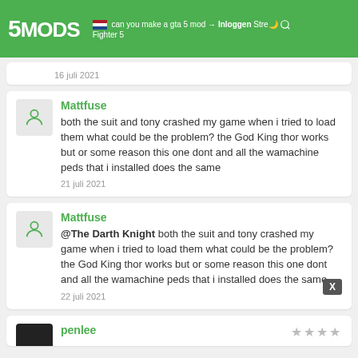5MODS | can you make a gta 5 mod ... Inloggen | Street Fighter 5
16 juli 2021
Mattfuse
both the suit and tony crashed my game when i tried to load them what could be the problem? the God King thor works but or some reason this one dont and all the wamachine peds that i installed does the same
21 juli 2021
Mattfuse
@The Darth Knight both the suit and tony crashed my game when i tried to load them what could be the problem? the God King thor works but or some reason this one dont and all the wamachine peds that i installed does the same
22 juli 2021
penlee